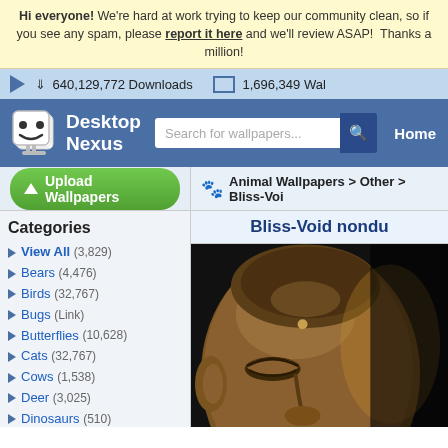Hi everyone! We're hard at work trying to keep our community clean, so if you see any spam, please report it here and we'll review ASAP! Thanks a million!
640,129,772 Downloads   1,696,349 Wal...
[Figure (screenshot): Desktop Nexus logo with mascot icon, search bar, and Home navigation]
Upload Wallpapers
Animal Wallpapers > Other > Bliss-Voi...
Bliss-Void nondu...
Categories
View All (3,829)
Bears (4,476)
Birds (32,767)
Bugs (Link)
Butterflies (10,628)
Cats (32,767)
Cows (1,538)
Deer (3,025)
Dinosaurs (510)
Dogs (32,767)
Dolphins (1,203)
Ducks (1,524)
Elephants (1,300)
Fish (3,162)
Frogs (5,708)
[Figure (photo): Close-up photo of a golden Buddha statue face against dark background]